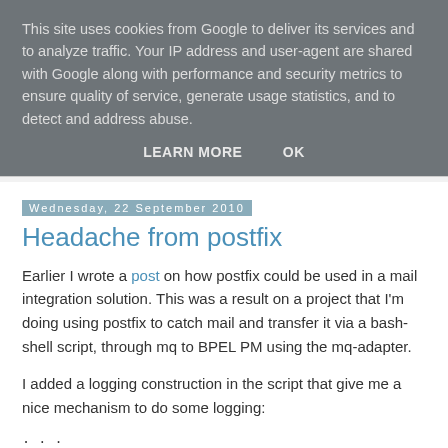This site uses cookies from Google to deliver its services and to analyze traffic. Your IP address and user-agent are shared with Google along with performance and security metrics to ensure quality of service, generate usage statistics, and to detect and address abuse.
LEARN MORE   OK
Wednesday, 22 September 2010
Headache from postfix
Earlier I wrote a post on how postfix could be used in a mail integration solution. This was a result on a project that I'm doing using postfix to catch mail and transfer it via a bash-shell script, through mq to BPEL PM using the mq-adapter.
I added a logging construction in the script that give me a nice mechanism to do some logging:
. . .
TRUE=1